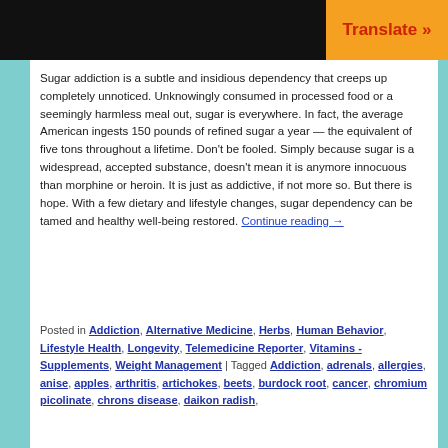[Figure (other): Header with black image area on left and orange 'Translate »' button on right]
Sugar addiction is a subtle and insidious dependency that creeps up completely unnoticed. Unknowingly consumed in processed food or a seemingly harmless meal out, sugar is everywhere. In fact, the average American ingests 150 pounds of refined sugar a year — the equivalent of five tons throughout a lifetime. Don't be fooled. Simply because sugar is a widespread, accepted substance, doesn't mean it is anymore innocuous than morphine or heroin. It is just as addictive, if not more so. But there is hope. With a few dietary and lifestyle changes, sugar dependency can be tamed and healthy well-being restored. Continue reading →
Posted in Addiction, Alternative Medicine, Herbs, Human Behavior, Lifestyle Health, Longevity, Telemedicine Reporter, Vitamins - Supplements, Weight Management | Tagged Addiction, adrenals, allergies, anise, apples, arthritis, artichokes, beets, burdock root, cancer, chromium picolinate, chrons disease, daikon radish, diet...